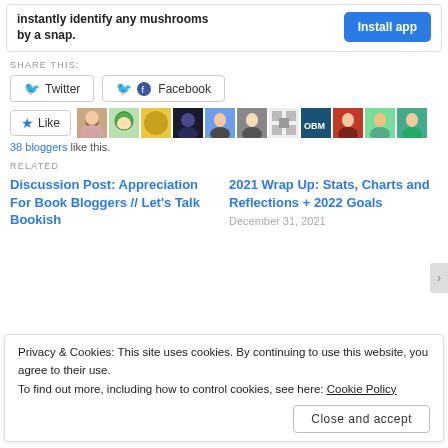[Figure (other): App install banner: bold text 'instantly identify any mushrooms by a snap.' with blue 'Install app' button]
SHARE THIS:
[Figure (other): Twitter and Facebook share buttons]
[Figure (other): Like button with star icon and a row of blogger avatar thumbnails]
38 bloggers like this.
RELATED
Discussion Post: Appreciation For Book Bloggers // Let's Talk Bookish
2021 Wrap Up: Stats, Charts and Reflections + 2022 Goals
December 31, 2021
Privacy & Cookies: This site uses cookies. By continuing to use this website, you agree to their use.
To find out more, including how to control cookies, see here: Cookie Policy
Close and accept